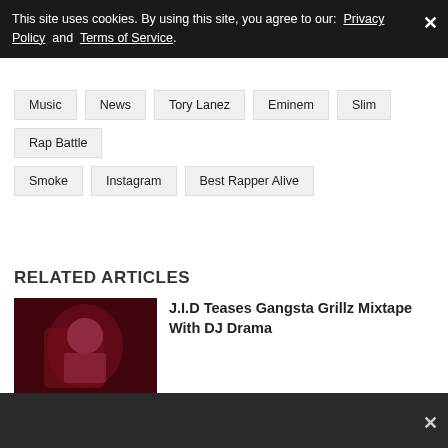This site uses cookies. By using this site, you agree to our: Privacy Policy and Terms of Service.
Music
News
Tory Lanez
Eminem
Slim
Rap Battle
Smoke
Instagram
Best Rapper Alive
RELATED ARTICLES
[Figure (photo): Photo of J.I.D performing on stage with red lighting]
J.I.D Teases Gangsta Grillz Mixtape With DJ Drama
[Figure (photo): Partial photo of Nicki Minaj article thumbnail]
Nicki Minaj Shouts Out Ye, Eminem...